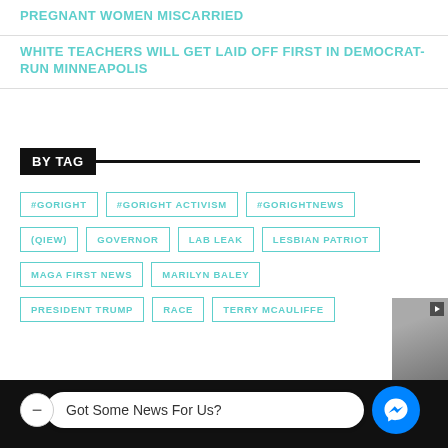PREGNANT WOMEN MISCARRIED
WHITE TEACHERS WILL GET LAID OFF FIRST IN DEMOCRAT-RUN MINNEAPOLIS
BY TAG
#GORIGHT
#GORIGHT ACTIVISM
#GORIGHTNEWS
(QIEW)
GOVERNOR
LAB LEAK
LESBIAN PATRIOT
MAGA FIRST NEWS
MARILYN BALEY
PRESIDENT TRUMP
RACE
TERRY MCAULIFFE
Got Some News For Us?